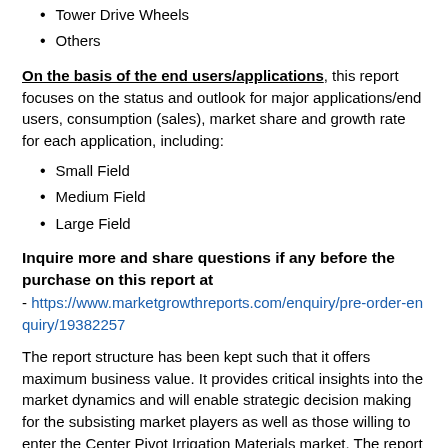Tower Drive Wheels
Others
On the basis of the end users/applications, this report focuses on the status and outlook for major applications/end users, consumption (sales), market share and growth rate for each application, including:
Small Field
Medium Field
Large Field
Inquire more and share questions if any before the purchase on this report at
- https://www.marketgrowthreports.com/enquiry/pre-order-enquiry/19382257
The report structure has been kept such that it offers maximum business value. It provides critical insights into the market dynamics and will enable strategic decision making for the subsisting market players as well as those willing to enter the Center Pivot Irrigation Materials market. The report offers comprehensive analysis and accurate statistics